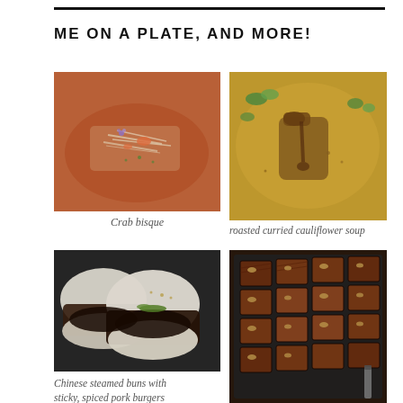ME ON A PLATE, AND MORE!
[Figure (photo): Crab bisque - a reddish-orange soup with shredded crab meat and purple flowers garnish]
Crab bisque
[Figure (photo): Roasted curried cauliflower soup - golden yellow curry soup with chicken pieces and fresh herb garnish]
roasted curried cauliflower soup
[Figure (photo): Chinese steamed buns with sticky, spiced pork burgers - white steamed buns with dark patties and green garnish]
Chinese steamed buns with sticky, spiced pork burgers
[Figure (photo): Grid of chocolate brownies with walnut toppings arranged on a dark surface with a knife]